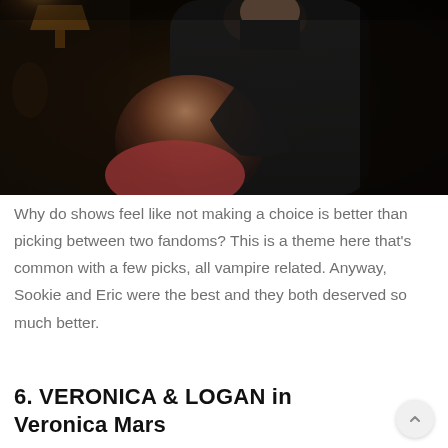[Figure (photo): A man in a dark turtleneck embracing a woman with reddish-blonde hair wearing a pink/red top, in a dimly lit room with warm lamp glow and ornate wallpaper in the background.]
Why do shows feel like not making a choice is better than picking between two fandoms? This is a theme here that's common with a few picks, all vampire related. Anyway, Sookie and Eric were the best and they both deserved so much better.
6. VERONICA & LOGAN in Veronica Mars